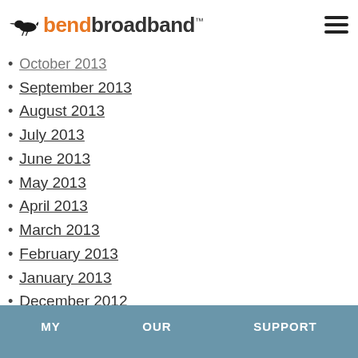bendbroadband
October 2013
September 2013
August 2013
July 2013
June 2013
May 2013
April 2013
March 2013
February 2013
January 2013
December 2012
November 2012
October 2012
September 2012
August 2012
March 2012
MY  OUR  SUPPORT